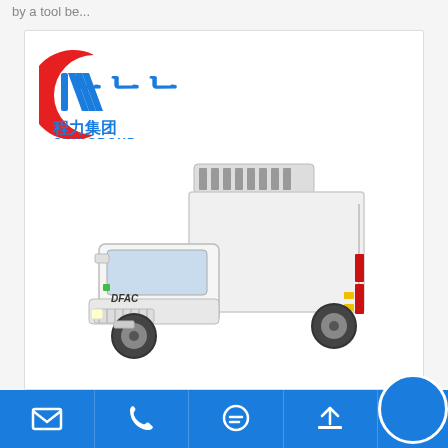by a tool be...
[Figure (logo): CLW GROUP (程力集团) logo with red crescent and blue stylized letters]
[Figure (photo): White DFAC refrigerated truck with white cargo box and rooftop refrigeration unit, red rear door accents]
[Figure (other): Blue bottom navigation bar with email icon, phone icon, chat/message icon, upload/share icon, and a blue circular button on the right]